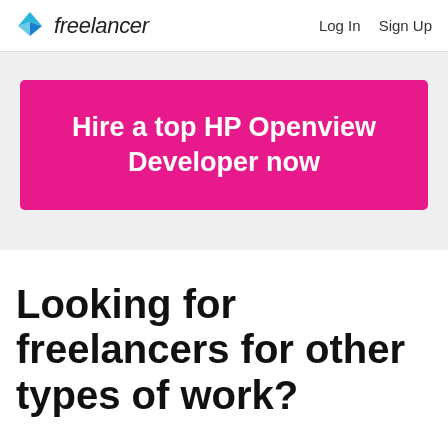freelancer  Log In  Sign Up
Hire a top HP Openview Developer now
Looking for freelancers for other types of work?